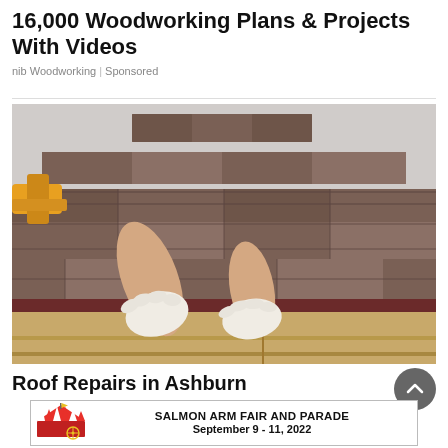16,000 Woodworking Plans & Projects With Videos
nib Woodworking | Sponsored
[Figure (photo): Person wearing gloves installing roof shingles, using a nail gun, viewed from above showing wooden fascia and asphalt shingles being laid]
Roof Repairs in Ashburn
[Figure (infographic): Advertisement banner for Salmon Arm Fair and Parade, September 9 - 11, 2022, with carnival/fair logo on left and text on right]